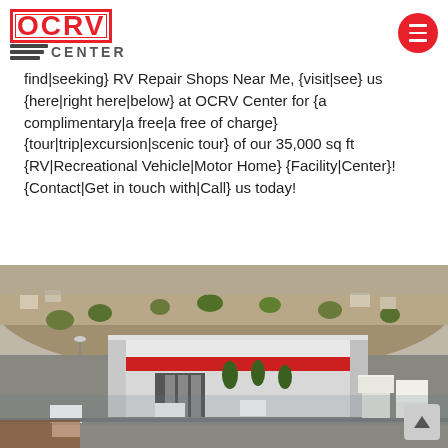OCRV Center logo and navigation menu
find|seeking} RV Repair Shops Near Me, {visit|see} us {here|right here|below} at OCRV Center for {a complimentary|a free|a free of charge} {tour|trip|excursion|scenic tour} of our 35,000 sq ft {RV|Recreational Vehicle|Motor Home} {Facility|Center}! {Contact|Get in touch with|Call} us today!
[Figure (photo): Aerial view of the OCRV Center facility — a large white and red commercial building with RVs and vehicles parked outside, surrounded by parking lots and hillside terrain.]